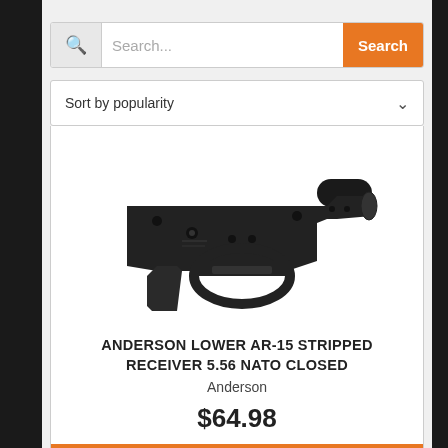Search...
Sort by popularity
[Figure (photo): Anderson lower AR-15 stripped receiver, black anodized aluminum, shown from left side with trigger guard and pistol grip area visible]
ANDERSON LOWER AR-15 STRIPPED RECEIVER 5.56 NATO CLOSED
Anderson
$64.98
Add To Cart